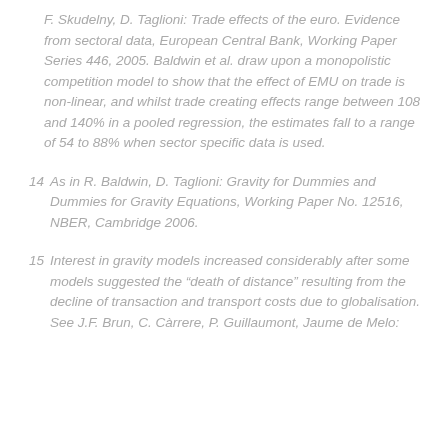F. Skudelny, D. Taglioni: Trade effects of the euro. Evidence from sectoral data, European Central Bank, Working Paper Series 446, 2005. Baldwin et al. draw upon a monopolistic competition model to show that the effect of EMU on trade is non-linear, and whilst trade creating effects range between 108 and 140% in a pooled regression, the estimates fall to a range of 54 to 88% when sector specific data is used.
14  As in R. Baldwin, D. Taglioni: Gravity for Dummies and Dummies for Gravity Equations, Working Paper No. 12516, NBER, Cambridge 2006.
15  Interest in gravity models increased considerably after some models suggested the “death of distance” resulting from the decline of transaction and transport costs due to globalisation. See J.F. Brun, C. Càrrere, P. Guillaumont, Jaume de Melo: